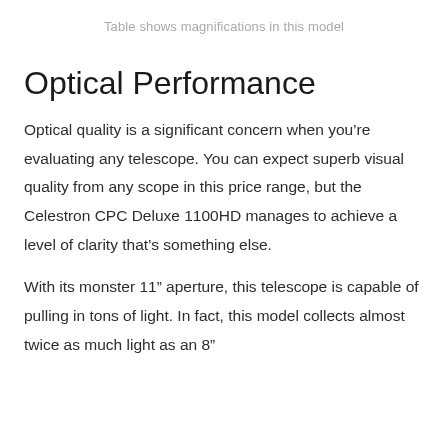Table shows magnifications in this model
Optical Performance
Optical quality is a significant concern when you’re evaluating any telescope. You can expect superb visual quality from any scope in this price range, but the Celestron CPC Deluxe 1100HD manages to achieve a level of clarity that’s something else.
With its monster 11” aperture, this telescope is capable of pulling in tons of light. In fact, this model collects almost twice as much light as an 8”